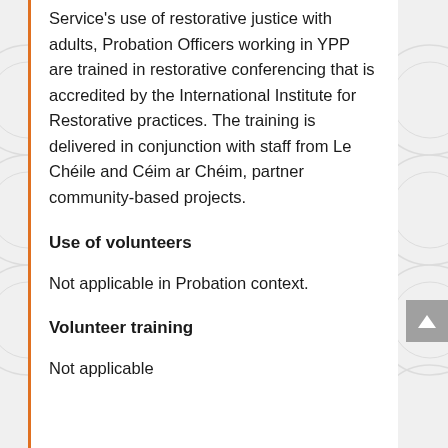Service's use of restorative justice with adults, Probation Officers working in YPP are trained in restorative conferencing that is accredited by the International Institute for Restorative practices. The training is delivered in conjunction with staff from Le Chéile and Céim ar Chéim, partner community-based projects.
Use of volunteers
Not applicable in Probation context.
Volunteer training
Not applicable